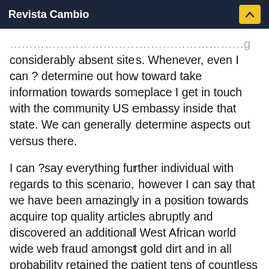Revista Cambio
considerably absent sites. Whenever, even I can ? determine out how toward take information towards someplace I get in touch with the community US embassy inside that state. We can generally determine aspects out versus there.
I can ?say everything further individual with regards to this scenario, however I can say that we have been amazingly in a position towards acquire top quality articles abruptly and discovered an additional West African world wide web fraud amongst gold dirt and in all probability retained the patient tens of countless numbers of income.
The Excellent Looker